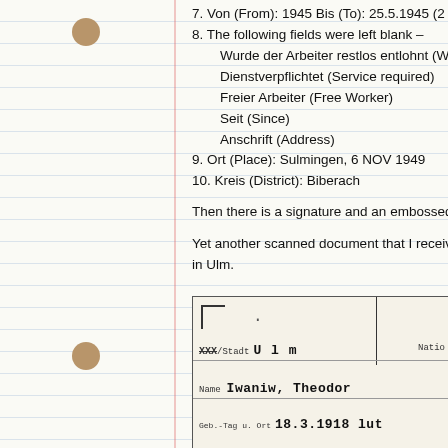7. Von (From): 1945 Bis (To): 25.5.1945 (2...
8. The following fields were left blank –
Wurde der Arbeiter restlos entlohnt (Wa...
Dienstverpflichtet (Service required)
Freier Arbeiter (Free Worker)
Seit (Since)
Anschrift (Address)
9. Ort (Place): Sulmingen, 6 NOV 1949
10. Kreis (District): Biberach
Then there is a signature and an embossed st...
Yet another scanned document that I receive... in Ulm.
[Figure (photo): Scanned German document showing fields: Kreis/Stadt Ulm, Nationalität (Nation...), Name: Iwaniw, Theodor, Geb.-Tag u. Ort: 18.3.1918]